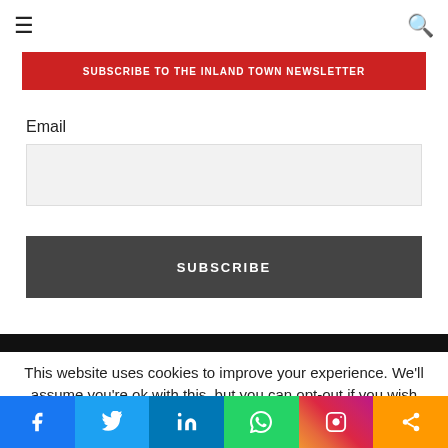☰ [menu icon]  [search icon]
SUBSCRIBE TO THE INLAND TOWN NEWSLETTER
Email
[email input field]
SUBSCRIBE
This website uses cookies to improve your experience. We'll assume you're ok with this, but you can opt-out if you wish
Facebook | Twitter | LinkedIn | WhatsApp | Instagram | Share